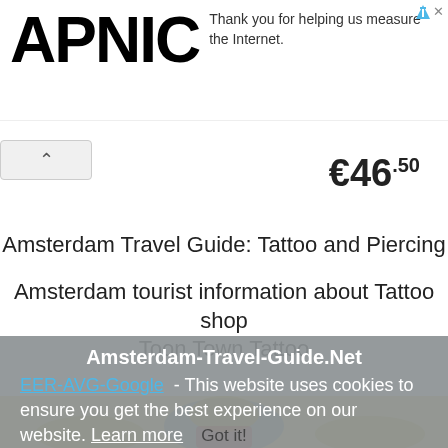[Figure (screenshot): APNIC logo — large black bold letters 'APNIC' on white background, top left of ad banner]
Thank you for helping us measure the Internet.
€46.50
Amsterdam Travel Guide: Tattoo and Piercing
Amsterdam tourist information about Tattoo shop Toon Town Tattoo
Amsterdam-Travel-Guide.Net
EER-AVG-Google - This website uses cookies to ensure you get the best experience on our website. Learn more
Got it!
[Figure (illustration): Amsterdam coat of arms — golden lions with crowns on red shield, bottom of page]